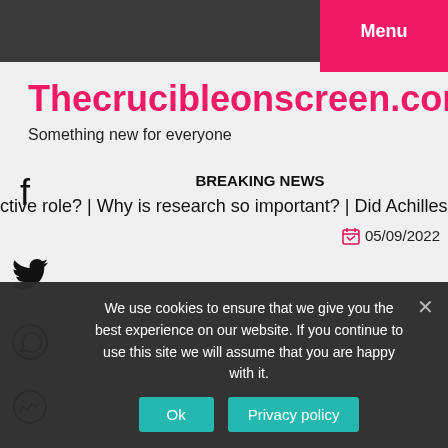Menu
Thecrucibleonscreen.com
Something new for everyone
BREAKING NEWS
ctive role?  |  Why is research so important?  |  Did Achilles re
05/09/2022
We use cookies to ensure that we give you the best experience on our website. If you continue to use this site we will assume that you are happy with it.
Ok   Privacy policy